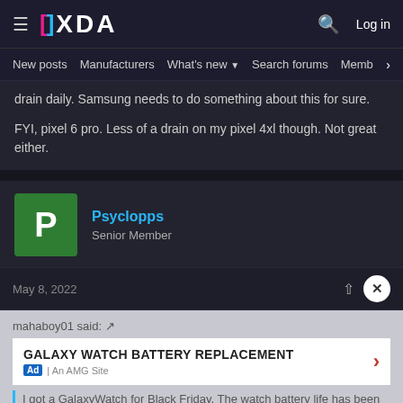XDA Forums — New posts | Manufacturers | What's new | Search forums | Members
drain daily. Samsung needs to do something about this for sure.
FYI, pixel 6 pro. Less of a drain on my pixel 4xl though. Not great either.
Psyclopps — Senior Member
May 8, 2022
mahaboy01 said:
GALAXY WATCH BATTERY REPLACEMENT
I got a GalaxyWatch for Black Friday. The watch battery life has been okay and gets me 24h battery life. But the Galaxy Watch4 Plugin on my phone has been destroying my phone battery life.